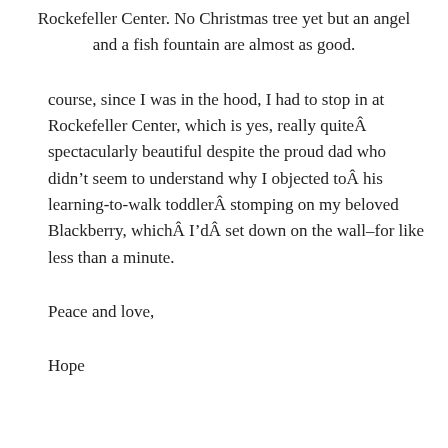Rockefeller Center. No Christmas tree yet but an angel and a fish fountain are almost as good.
course, since I was in the hood, I had to stop in at Rockefeller Center, which is yes, really quiteÂ spectacularly beautiful despite the proud dad who didn’t seem to understand why I objected toÂ his learning-to-walk toddlerÂ stomping on my beloved Blackberry, whichÂ I’dÂ set down on the wall–for like less than a minute.
Peace and love,
Hope